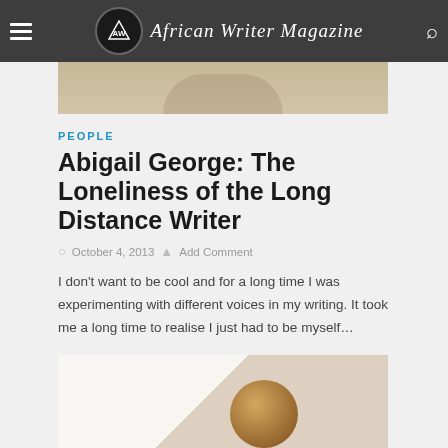African Writer Magazine
[Figure (photo): Partial cropped photo at top of page, appears to be a person]
PEOPLE
Abigail George: The Loneliness of the Long Distance Writer
October 4, 2013  Add Comment
I don’t want to be cool and for a long time I was experimenting with different voices in my writing. It took me a long time to realise I just had to be myself…
[Figure (photo): Partial photo at bottom of page, appears to be the article subject Abigail George]